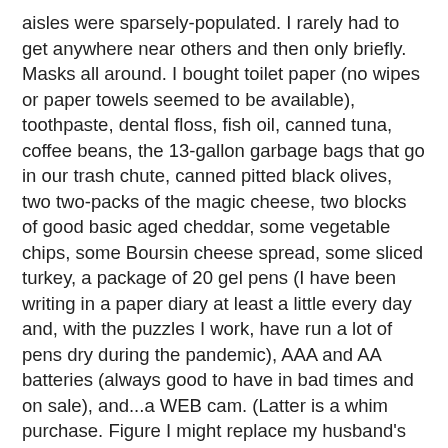aisles were sparsely-populated. I rarely had to get anywhere near others and then only briefly. Masks all around. I bought toilet paper (no wipes or paper towels seemed to be available), toothpaste, dental floss, fish oil, canned tuna, coffee beans, the 13-gallon garbage bags that go in our trash chute, canned pitted black olives, two two-packs of the magic cheese, two blocks of good basic aged cheddar, some vegetable chips, some Boursin cheese spread, some sliced turkey, a package of 20 gel pens (I have been writing in a paper diary at least a little every day and, with the puzzles I work, have run a lot of pens dry during the pandemic), AAA and AA batteries (always good to have in bad times and on sale), and...a WEB cam. (Latter is a whim purchase. Figure I might replace my husband's laptop with a desktop that doesn't have a camera. Plus on sale.)
Came home and unloaded and felt like I'd done a day's work. Now, in fairness, it was really easy, but I don't like essential shopping in the best of times. In any case, no wait at the register, and really seemed safe and quick. They had rearranged some things for COVID, but I still found most things. I have made myself a little calculator for the chances